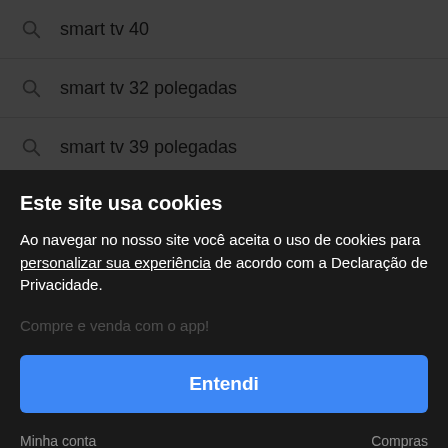smart tv 40
smart tv 32 polegadas
smart tv 39 polegadas
Este site usa cookies
Ao navegar no nosso site você aceita o uso de cookies para personalizar sua experiência de acordo com a Declaração de Privacidade.
Entendi
Configurar cookies